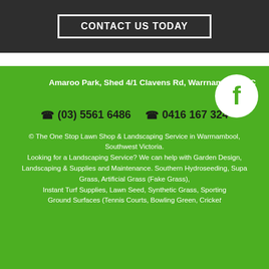CONTACT US TODAY
Amaroo Park, Shed 4/1 Clavens Rd, Warrnambool VIC 3280
(03) 5561 6486   0416 167 324
© The One Stop Lawn Shop & Landscaping Service in Warrnambool, Southwest Victoria. Looking for a Landscaping Service? We can help with Garden Design, Landscaping & Supplies and Maintenance. Southern Hydroseeding, Supa Grass, Artificial Grass (Fake Grass), Instant Turf Supplies, Lawn Seed, Synthetic Grass, Sporting Ground Surfaces (Tennis Courts, Bowling Green, Cricket)